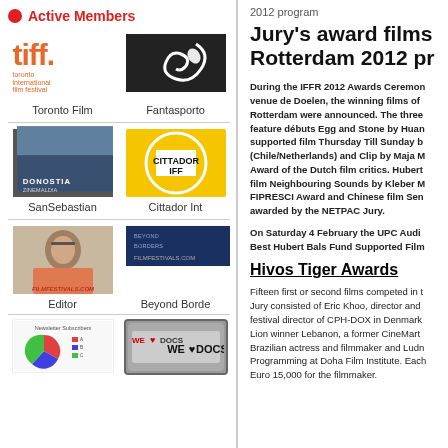Active Members
[Figure (logo): Toronto International Film Festival (TIFF) logo in orange]
Toronto Film
[Figure (logo): Fantasporto logo - dark background with white swirl]
Fantasporto
[Figure (photo): San Sebastian film sign photo]
SanSebastian
[Figure (logo): Cittador IFF logo - yellow circle with white square]
Cittador Int
[Figure (photo): Editor photo - person with glasses]
Editor
[Figure (logo): Beyond Borders logo]
Beyond Borde
[Figure (pie-chart): Newsletter Subscribers pie chart thumbnail]
[Figure (logo): WE LOVE DOCS logo on license plate]
2012 program
Jury's award films Rotterdam 2012 pr
During the IFFR 2012 Awards Ceremony venue de Doelen, the winning films of Rotterdam were announced. The three feature débuts Egg and Stone by Huan supported film Thursday Till Sunday b (Chile/Netherlands) and Clip by Maja M Award of the Dutch film critics. Hubert film Neighbouring Sounds by Kleber M FIPRESCI Award and Chinese film Sen awarded by the NETPAC Jury.
On Saturday 4 February the UPC Audi Best Hubert Bals Fund Supported Film
Hivos Tiger Awards
Fifteen first or second films competed in t Jury consisted of Eric Khoo, director and festival director of CPH-DOX in Denmark Lion winner Lebanon, a former CineMart Brazilian actress and filmmaker and Ludn Programming at Doha Film Institute. Each Euro 15,000 for the filmmaker.